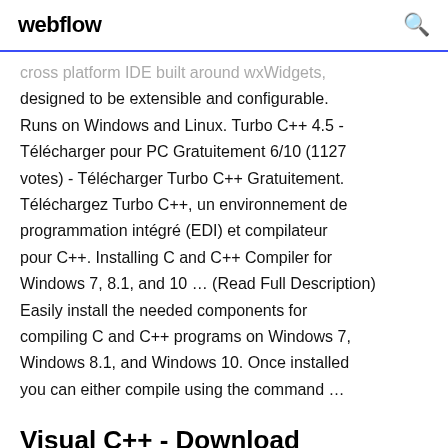webflow
cross platform IDE built around wxWidgets, designed to be extensible and configurable. Runs on Windows and Linux. Turbo C++ 4.5 - Télécharger pour PC Gratuitement 6/10 (1127 votes) - Télécharger Turbo C++ Gratuitement. Téléchargez Turbo C++, un environnement de programmation intégré (EDI) et compilateur pour C++. Installing C and C++ Compiler for Windows 7, 8.1, and 10 … (Read Full Description) Easily install the needed components for compiling C and C++ programs on Windows 7, Windows 8.1, and Windows 10. Once installed you can either compile using the command …
Visual C++ - Download